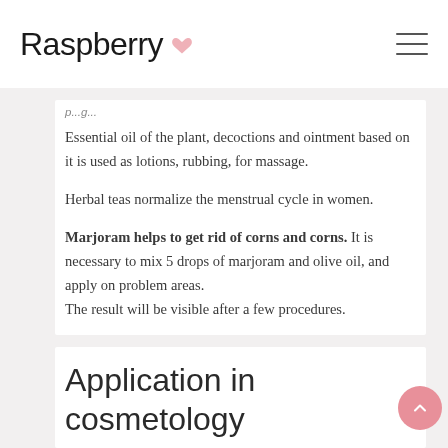Raspberry
p...g...
Essential oil of the plant, decoctions and ointment based on it is used as lotions, rubbing, for massage.
Herbal teas normalize the menstrual cycle in women.
Marjoram helps to get rid of corns and corns. It is necessary to mix 5 drops of marjoram and olive oil, and apply on problem areas. The result will be visible after a few procedures.
Application in cosmetology